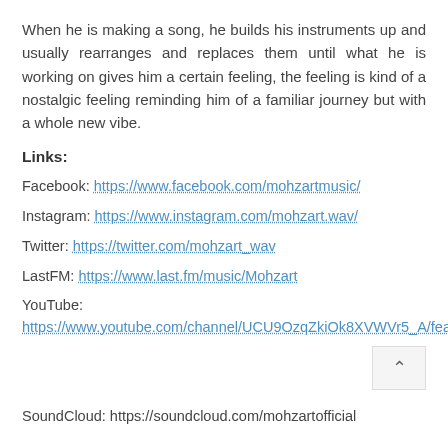When he is making a song, he builds his instruments up and usually rearranges and replaces them until what he is working on gives him a certain feeling, the feeling is kind of a nostalgic feeling reminding him of a familiar journey but with a whole new vibe.
Links:
Facebook: https://www.facebook.com/mohzartmusic/
Instagram: https://www.instagram.com/mohzart.wav/
Twitter: https://twitter.com/mohzart_wav
LastFM: https://www.last.fm/music/Mohzart
YouTube: https://www.youtube.com/channel/UCU9OzqZkiOk8XVWVr5_A/featured
SoundCloud: https://soundcloud.com/mohzartofficial